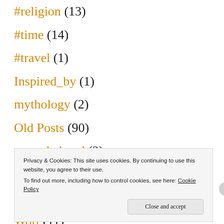#religion (13)
#time (14)
#travel (1)
Inspired_by (1)
mythology (2)
Old Posts (90)
overwhelmed (2)
Post-Collegiate (67)
Uncategorized (140)
Wort (11)
Writing Prompt (2)
Privacy & Cookies: This site uses cookies. By continuing to use this website, you agree to their use. To find out more, including how to control cookies, see here: Cookie Policy
Close and accept